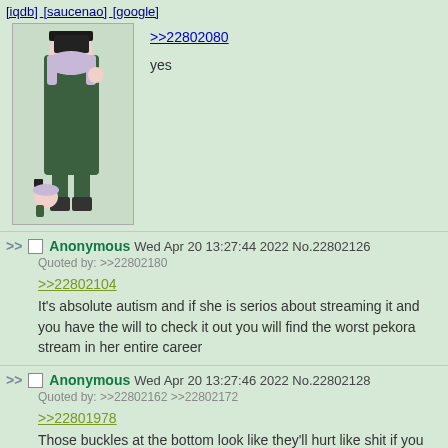[iqdb] [saucenao] [google]
[Figure (illustration): Anime character illustration showing a tall figure in green military uniform with black hat, and a smaller chibi version of the same character below]
>>22802080
yes
>> Anonymous Wed Apr 20 13:27:44 2022 No.22802126
Quoted by: >>22802180
>>22802104
It's absolute autism and if she is serios about streaming it and you have the will to check it out you will find the worst pekora stream in her entire career
>> Anonymous Wed Apr 20 13:27:46 2022 No.22802128
Quoted by: >>22802162 >>22802172
>>22801978
Those buckles at the bottom look like they'll hurt like shit if you ever have to bend over so they press into your stomach